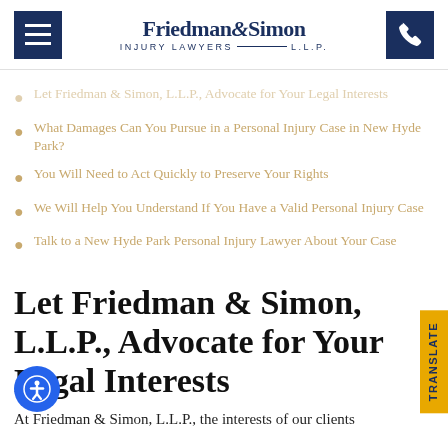[Figure (logo): Friedman & Simon Injury Lawyers L.L.P. logo with hamburger menu icon and phone icon]
Let Friedman & Simon, L.L.P., Advocate for Your Legal Interests
What Damages Can You Pursue in a Personal Injury Case in New Hyde Park?
You Will Need to Act Quickly to Preserve Your Rights
We Will Help You Understand If You Have a Valid Personal Injury Case
Talk to a New Hyde Park Personal Injury Lawyer About Your Case
Let Friedman & Simon, L.L.P., Advocate for Your Legal Interests
At Friedman & Simon, L.L.P., the interests of our clients